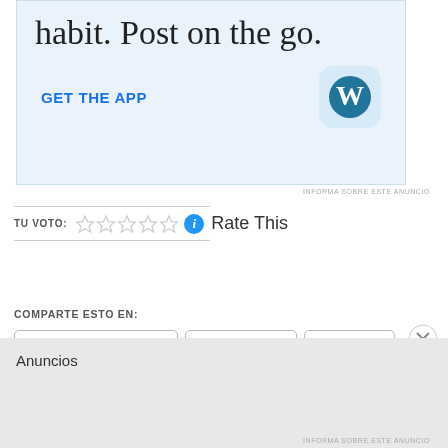[Figure (illustration): WordPress app advertisement banner with light blue background showing partial text 'habit. Post on the go.' with GET THE APP link and WordPress logo icon]
INFORMA SOBRE ESTE ANUNCIO
TU VOTO: ☆☆☆☆☆ ℹ Rate This
COMPARTE ESTO EN:
Correo electrónico
Facebook
Twitter
Pinterest
WhatsApp
Imprimir
Anuncios
INFORMA SOBRE ESTE ANUNCIO